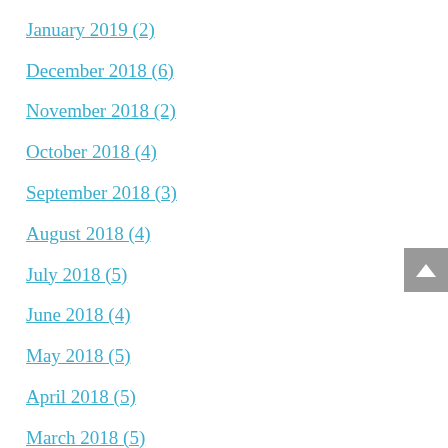February 2019 (3)
January 2019 (2)
December 2018 (6)
November 2018 (2)
October 2018 (4)
September 2018 (3)
August 2018 (4)
July 2018 (5)
June 2018 (4)
May 2018 (5)
April 2018 (5)
March 2018 (5)
February 2018 (6)